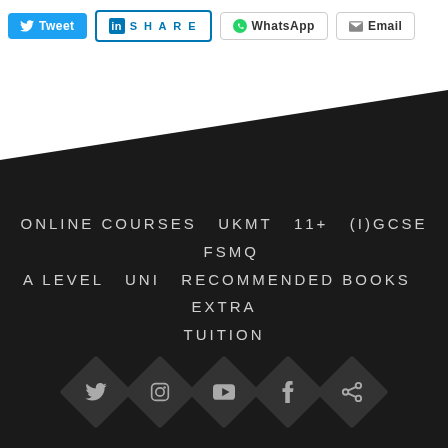[Figure (infographic): Social share buttons: Tweet (blue), Share on LinkedIn (blue outline), WhatsApp, Email]
ONLINE COURSES  UKMT  11+  (I)GCSE  FSMQ  A LEVEL  UNI  RECOMMENDED BOOKS  EXTRA TUITION
[Figure (infographic): Five social media icon diamonds at the bottom: Twitter, Instagram, YouTube, Facebook, and a link/share icon]